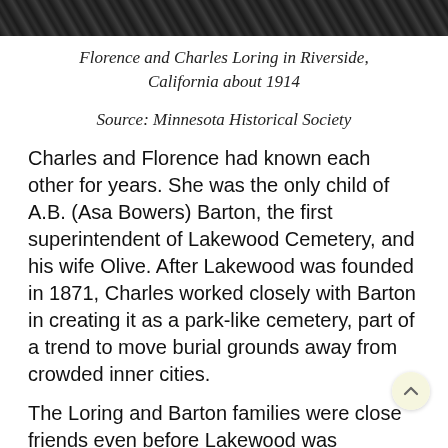[Figure (photo): Black and white photograph strip showing Florence and Charles Loring in Riverside, California, cropped at top of page]
Florence and Charles Loring in Riverside, California about 1914
Source: Minnesota Historical Society
Charles and Florence had known each other for years. She was the only child of A.B. (Asa Bowers) Barton, the first superintendent of Lakewood Cemetery, and his wife Olive. After Lakewood was founded in 1871, Charles worked closely with Barton in creating it as a park-like cemetery, part of a trend to move burial grounds away from crowded inner cities.
The Loring and Barton families were close friends even before Lakewood was developed. They even shared living quarters for three months in 1867 when Charles, Emily and their son Albert moved in